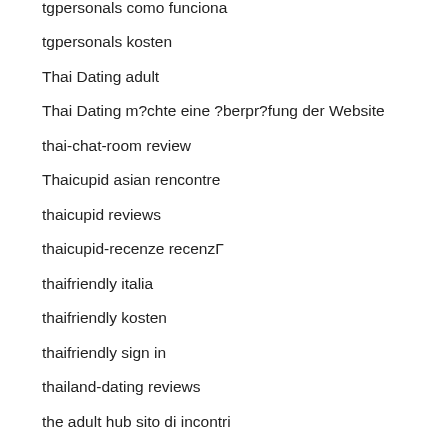tgpersonals como funciona
tgpersonals kosten
Thai Dating adult
Thai Dating m?chte eine ?berpr?fung der Website
thai-chat-room review
Thaicupid asian rencontre
thaicupid reviews
thaicupid-recenze recenzΓ
thaifriendly italia
thaifriendly kosten
thaifriendly sign in
thailand-dating reviews
the adult hub sito di incontri
the inner circle review
the inner circle reviews
the league avis
the league connexion
The League reviews